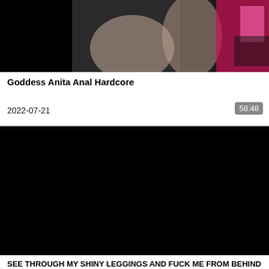[Figure (photo): Video thumbnail showing adult content - partially visible figures against dark and pink/red background]
Goddess Anita Anal Hardcore
2022-07-21
58:48
[Figure (screenshot): Black video player area]
SEE THROUGH MY SHINY LEGGINGS AND FUCK ME FROM BEHIND